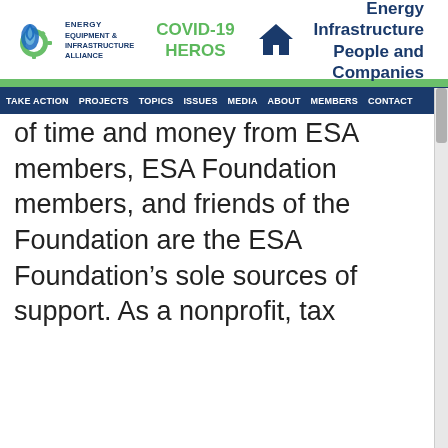[Figure (logo): Energy Equipment & Infrastructure Alliance logo with gear and water drop icon]
COVID-19 HEROS
[Figure (logo): Home icon (house silhouette)]
Energy Infrastructure People and Companies
TAKE ACTION  PROJECTS  TOPICS  ISSUES  MEDIA  ABOUT  MEMBERS  CONTACT
of time and money from ESA members, ESA Foundation members, and friends of the Foundation are the ESA Foundation’s sole sources of support. As a nonprofit, tax